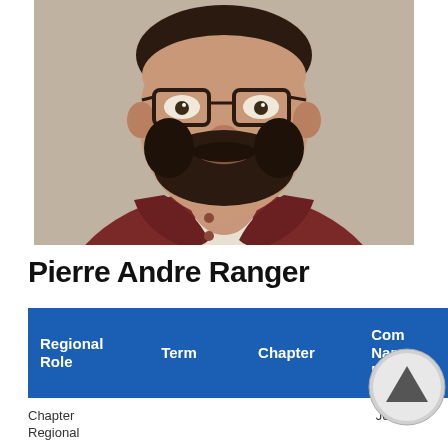[Figure (photo): Headshot of a man with glasses and a dark beard, wearing a dark red/maroon button-up shirt over a white undershirt. Light background.]
Pierre Andre Ranger
| Regional Role | Term | Chapter | Com Nam Rol |
| --- | --- | --- | --- |
| Chapter Regional |  |  | John |
Chapter Regional
John